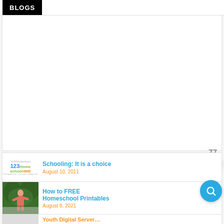[Figure (logo): Blogs banner logo with white text on black background]
[Figure (other): White content/advertisement area]
77
Schooling: It is a choice — August 10, 2011
How to FREE Homeschool Printables — August 8, 2021
Youth Digital Server (partial)